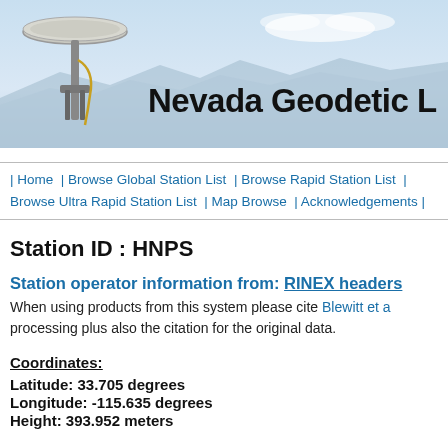[Figure (photo): Nevada Geodetic Laboratory website header banner showing a GPS antenna against a sky and mountain background with bold text 'Nevada Geodetic L' (truncated)]
| Home | Browse Global Station List | Browse Rapid Station List | Browse Ultra Rapid Station List | Map Browse | Acknowledgements |
Station ID : HNPS
Station operator information from: RINEX headers
When using products from this system please cite Blewitt et a processing plus also the citation for the original data.
Coordinates:
Latitude: 33.705 degrees
Longitude: -115.635 degrees
Height: 393.952 meters